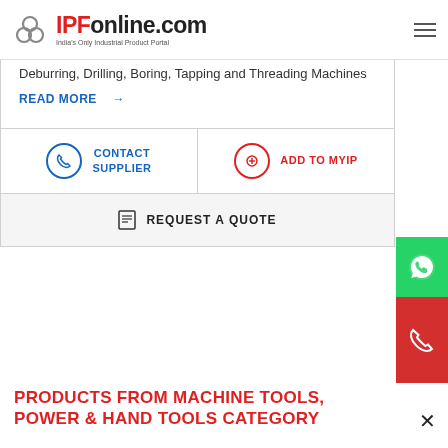IPFonline.com — India's Only Industrial Product Portal
Deburring, Drilling, Boring, Tapping and Threading Machines
READ MORE →
CONTACT SUPPLIER
ADD TO MYIP
REQUEST A QUOTE
PRODUCTS FROM MACHINE TOOLS, POWER & HAND TOOLS CATEGORY